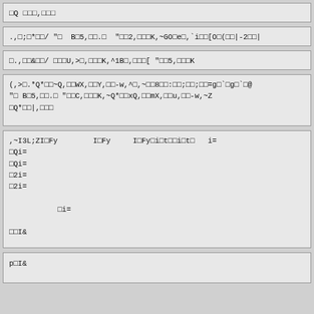□Q □□□,□□□
.,□;□*□□/ "□  B□5,□□.□  "□□2,□□□K,~GO□e□,`i□□[O□(□□|-2□□|
□.,□□&□□/ □□□U,>□,□□□K,^1B□,□□□[ "□□5,□□□K
(,>□.*Q*□□~Q,□□WX,□□Y,□□-w,^□,~□□8□□:□□;□□;□□=g□`□g□`□@
"□ B□5,□□.□ "□□C,□□□K,~Q*□□xQ,□□mX,□□u,□□-w,~Z
□Q*□□|,□□□
,~I3L;ZI□Fy        I□Fy     I□Fy□i□t□□i□t□   i=
□Qi=
□Qi=
□2i=
□2i=

           □i=

□□I&
p□I&